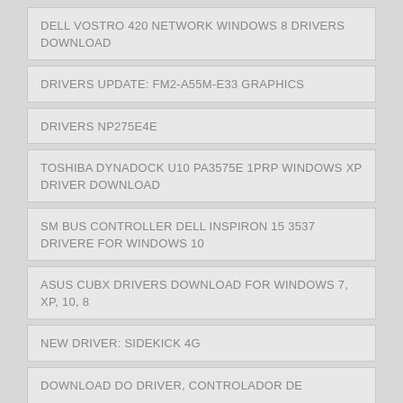DELL VOSTRO 420 NETWORK WINDOWS 8 DRIVERS DOWNLOAD
DRIVERS UPDATE: FM2-A55M-E33 GRAPHICS
DRIVERS NP275E4E
TOSHIBA DYNADOCK U10 PA3575E 1PRP WINDOWS XP DRIVER DOWNLOAD
SM BUS CONTROLLER DELL INSPIRON 15 3537 DRIVERE FOR WINDOWS 10
ASUS CUBX DRIVERS DOWNLOAD FOR WINDOWS 7, XP, 10, 8
NEW DRIVER: SIDEKICK 4G
DOWNLOAD DO DRIVER, CONTROLADOR DE